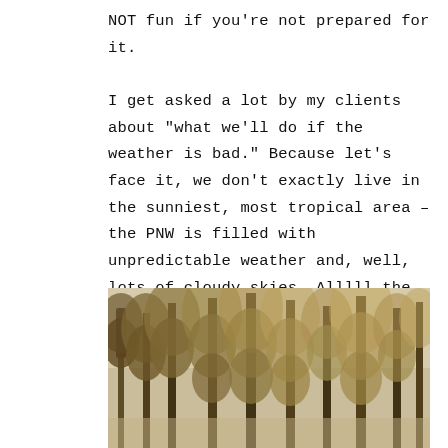NOT fun if you're not prepared for it.

I get asked a lot by my clients about "what we'll do if the weather is bad." Because let's face it, we don't exactly live in the sunniest, most tropical area – the PNW is filled with unpredictable weather and, well, lots of cloudy skies. Alllll the time, all year-round.
[Figure (photo): Sepia-toned photograph of tall coniferous trees (Pacific Northwest forest) against an overcast light sky.]